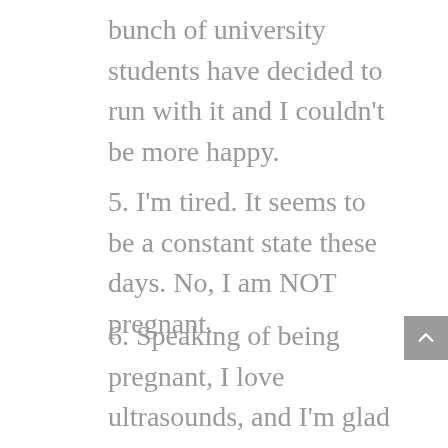bunch of university students have decided to run with it and I couldn't be more happy.
5. I'm tired. It seems to be a constant state these days. No, I am NOT pregnant.
6. Speaking of being pregnant, I love ultrasounds, and I'm glad Krista shared hers. When I was in the hospital with Matthew, I had at least 15 of them (twice a day for at least